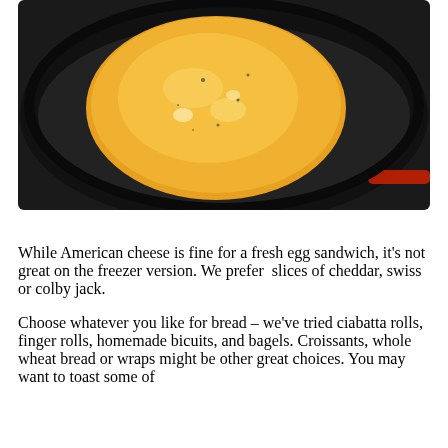[Figure (photo): Photo of a round egg omelette cooking in a black non-stick frying pan, viewed from above. The egg is yellow/orange and almost fills the dark pan.]
While American cheese is fine for a fresh egg sandwich, it's not great on the freezer version. We prefer slices of cheddar, swiss or colby jack.
Choose whatever you like for bread – we've tried ciabatta rolls, finger rolls, homemade bicuits, and bagels. Croissants, whole wheat bread or wraps might be other great choices. You may want to toast some of